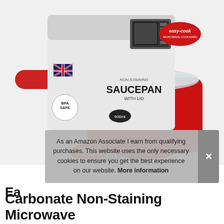[Figure (photo): Product photo of Easy-Cook Non-Staining Saucepan with Lid in red, 600ml, microwave cookware, BPA safe, made in UK. Shown in and out of packaging box.]
As an Amazon Associate I earn from qualifying purchases. This website uses the only necessary cookies to ensure you get the best experience on our website. More information
Ea
Carbonate Non-Staining Microwave